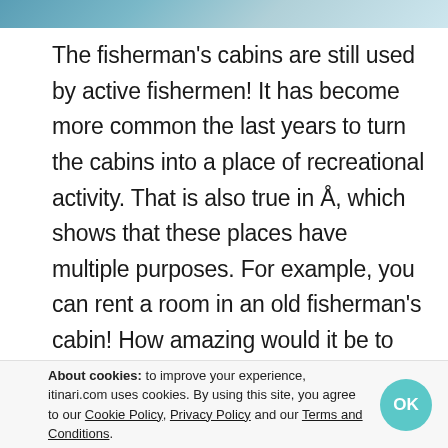[Figure (photo): Partial photo strip at top of page showing water/dock scene in blue tones]
The fisherman's cabins are still used by active fishermen! It has become more common the last years to turn the cabins into a place of recreational activity. That is also true in Å, which shows that these places have multiple purposes. For example, you can rent a room in an old fisherman's cabin! How amazing would it be to live inside of the construction of the most Norwegian house that you can find! The people of
About cookies: to improve your experience, itinari.com uses cookies. By using this site, you agree to our Cookie Policy, Privacy Policy and our Terms and Conditions.